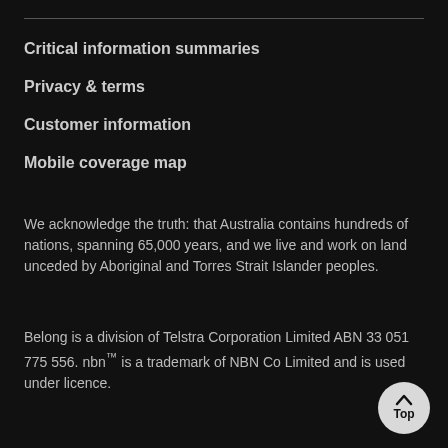Critical information summaries
Privacy & terms
Customer information
Mobile coverage map
We acknowledge the truth: that Australia contains hundreds of nations, spanning 65,000 years, and we live and work on land unceded by Aboriginal and Torres Strait Islander peoples.
Belong is a division of Telstra Corporation Limited ABN 33 051 775 556. nbn™ is a trademark of NBN Co Limited and is used under licence.